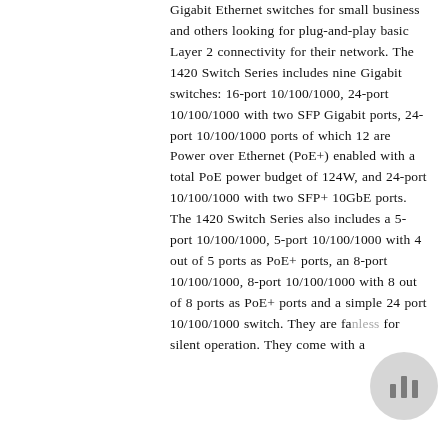Gigabit Ethernet switches for small business and others looking for plug-and-play basic Layer 2 connectivity for their network. The 1420 Switch Series includes nine Gigabit switches: 16-port 10/100/1000, 24-port 10/100/1000 with two SFP Gigabit ports, 24-port 10/100/1000 ports of which 12 are Power over Ethernet (PoE+) enabled with a total PoE power budget of 124W, and 24-port 10/100/1000 with two SFP+ 10GbE ports. The 1420 Switch Series also includes a 5-port 10/100/1000, 5-port 10/100/1000 with 4 out of 5 ports as PoE+ ports, an 8-port 10/100/1000, 8-port 10/100/1000 with 8 out of 8 ports as PoE+ ports and a simple 24 port 10/100/1000 switch. They are fanless for silent operation. They come with a